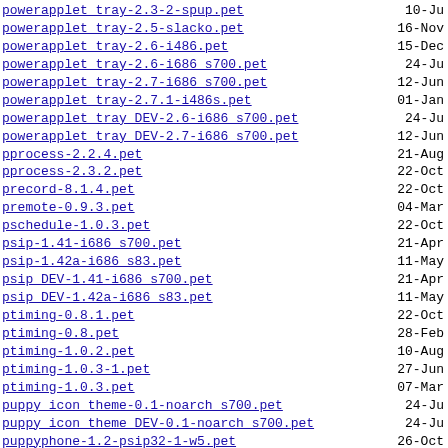powerapplet tray-2.3-2-spup.pet  10-Ju
powerapplet tray-2.5-slacko.pet  16-Nov
powerapplet tray-2.6-i486.pet  15-Dec
powerapplet tray-2.6-i686_s700.pet  24-Ju
powerapplet tray-2.7-i686_s700.pet  12-Jun
powerapplet tray-2.7.1-i486s.pet  01-Jan
powerapplet tray DEV-2.6-i686_s700.pet  24-Ju
powerapplet tray DEV-2.7-i686_s700.pet  12-Jun
pprocess-2.2.4.pet  21-Aug
pprocess-2.3.2.pet  22-Oct
precord-8.1.4.pet  22-Oct
premote-0.9.3.pet  04-Mar
pschedule-1.0.3.pet  22-Oct
psip-1.41-i686_s700.pet  21-Apr
psip-1.42a-i686_s83.pet  11-May
psip DEV-1.41-i686_s700.pet  21-Apr
psip DEV-1.42a-i686_s83.pet  11-May
ptiming-0.8.1.pet  22-Oct
ptiming-0.8.pet  28-Feb
ptiming-1.0.2.pet  10-Aug
ptiming-1.0.3-1.pet  27-Jun
ptiming-1.0.3.pet  07-Mar
puppy icon theme-0.1-noarch_s700.pet  24-Ju
puppy icon theme DEV-0.1-noarch_s700.pet  24-Ju
puppyphone-1.2-psip32-1-w5.pet  26-Oct
puppyphone-1.3pre-psip32r.pet  30-Nov
puppyserialdetect-1.1h.pet  07-Jun
pupradio-0.17.pet  02-Nov
pupradio-0.19.pet  13-Ju
pupradio NLS-0.17.pet  02-Nov